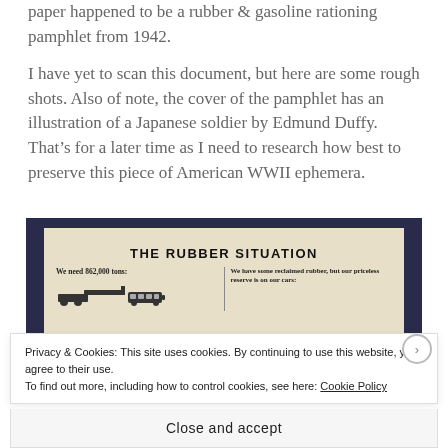paper happened to be a rubber & gasoline rationing pamphlet from 1942.
I have yet to scan this document, but here are some rough shots. Also of note, the cover of the pamphlet has an illustration of a Japanese soldier by Edmund Duffy. That’s for a later time as I need to research how best to preserve this piece of American WWII ephemera.
[Figure (photo): Photo of a 1942 rubber & gasoline rationing pamphlet titled 'THE RUBBER SITUATION' laid on a dark fabric surface, showing text columns beginning with 'We need 862,000 tons:' and 'We have some reclaimed rubber, but our priceless reserve is on our cars:']
Privacy & Cookies: This site uses cookies. By continuing to use this website, you agree to their use.
To find out more, including how to control cookies, see here: Cookie Policy
Close and accept